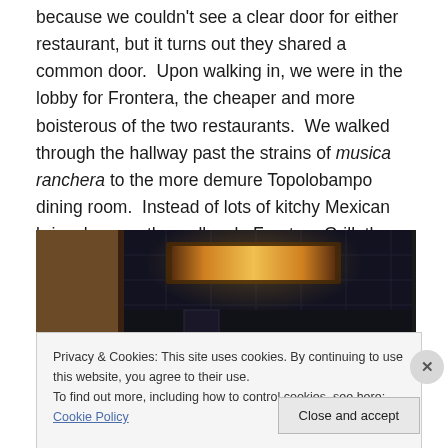because we couldn't see a clear door for either restaurant, but it turns out they shared a common door.  Upon walking in, we were in the lobby for Frontera, the cheaper and more boisterous of the two restaurants.  We walked through the hallway past the strains of musica ranchera to the more demure Topolobampo dining room.  Instead of lots of kitchy Mexican bric a brac on the walls a la Frontera Grill, there were more oil paintings and softer music.
[Figure (photo): Interior photo of a restaurant ceiling showing a rectangular light fixture glowing orange-yellow, dark tiled ceiling panels, wood-paneled wall on the left, and a small circular light fixture visible at lower right.]
Privacy & Cookies: This site uses cookies. By continuing to use this website, you agree to their use.
To find out more, including how to control cookies, see here: Cookie Policy
[Close and accept button]